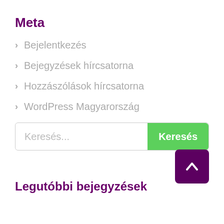Meta
Bejelentkezés
Bejegyzések hírcsatorna
Hozzászólások hírcsatorna
WordPress Magyarország
Keresés...
Legutóbbi bejegyzések